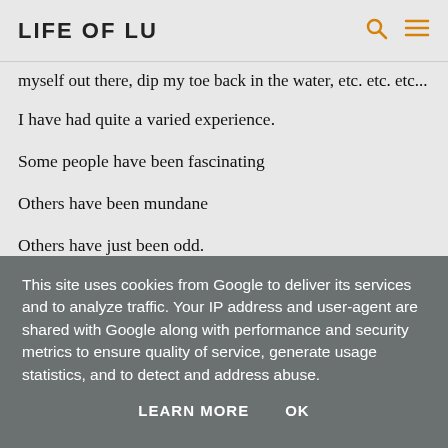LIFE OF LU
myself out there, dip my toe back in the water, etc. etc. etc...
I have had quite a varied experience.
Some people have been fascinating
Others have been mundane
Others have just been odd.
There is a lot of uncertainty it seems in dating in your 30s
A lot of people have been hurt
A lot of people are disillusioned with the idea of a relationship
A lot of people (and I fall into this bracket) are not that bothered
This site uses cookies from Google to deliver its services and to analyze traffic. Your IP address and user-agent are shared with Google along with performance and security metrics to ensure quality of service, generate usage statistics, and to detect and address abuse.
LEARN MORE   OK